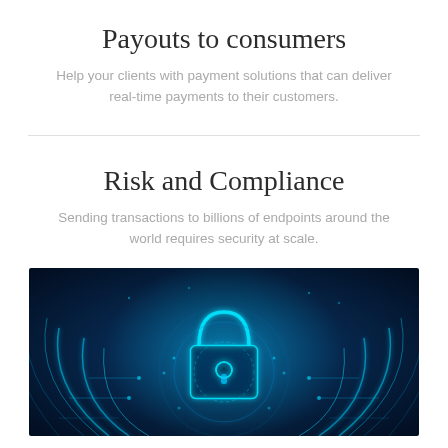Payouts to consumers
Help your clients with payment solutions that can deliver real-time payments to their customers.
Risk and Compliance
Sending transactions to billions of endpoints around the world requires security at scale.
[Figure (photo): Blue digital security/cybersecurity themed image with a glowing padlock in the center, surrounded by circuit board patterns and concentric arcs of blue neon light on a dark blue background.]